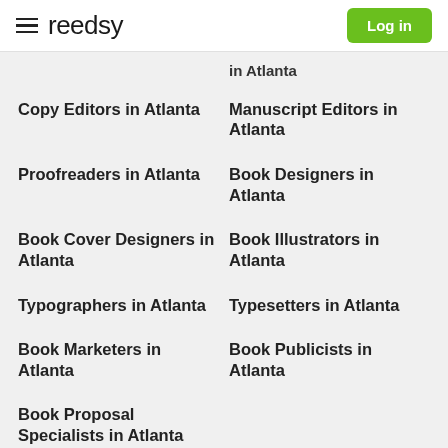reedsy | Log in
in Atlanta
Copy Editors in Atlanta
Manuscript Editors in Atlanta
Proofreaders in Atlanta
Book Designers in Atlanta
Book Cover Designers in Atlanta
Book Illustrators in Atlanta
Typographers in Atlanta
Typesetters in Atlanta
Book Marketers in Atlanta
Book Publicists in Atlanta
Book Proposal Specialists in Atlanta